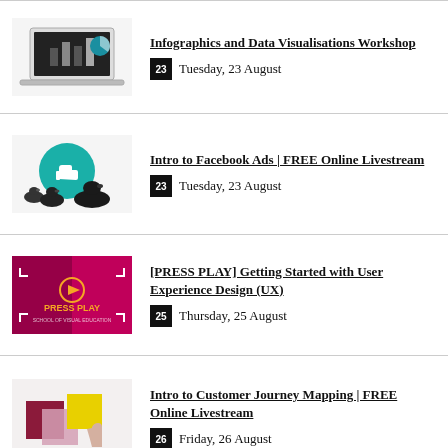Infographics and Data Visualisations Workshop – Tuesday, 23 August
Intro to Facebook Ads | FREE Online Livestream – Tuesday, 23 August
[PRESS PLAY] Getting Started with User Experience Design (UX) – Thursday, 25 August
Intro to Customer Journey Mapping | FREE Online Livestream – Friday, 26 August